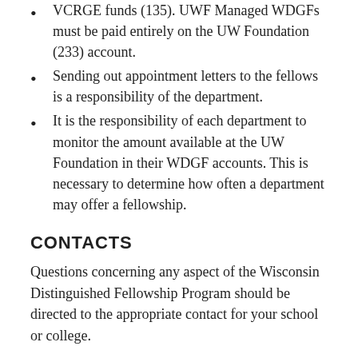VCRGE funds (135). UWF Managed WDGFs must be paid entirely on the UW Foundation (233) account.
Sending out appointment letters to the fellows is a responsibility of the department.
It is the responsibility of each department to monitor the amount available at the UW Foundation in their WDGF accounts. This is necessary to determine how often a department may offer a fellowship.
CONTACTS
Questions concerning any aspect of the Wisconsin Distinguished Fellowship Program should be directed to the appropriate contact for your school or college.